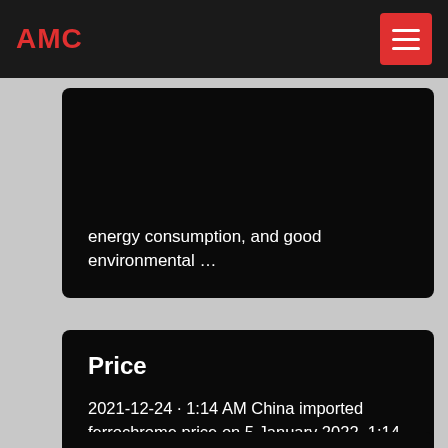AMC
energy consumption, and good environmental …
Price
2021-12-24 · 1:14 AM China imported ferrochrome price on 5 January 2022. 1:14 AM China high carbon ferrochrome market price by region on 5 January 2022. Jan 4 China metallurgical coke price in major provinces on 4 January 2022. Jan 4 India …